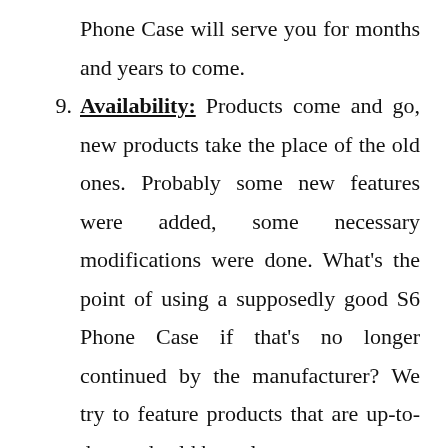Phone Case will serve you for months and years to come.
9. Availability: Products come and go, new products take the place of the old ones. Probably some new features were added, some necessary modifications were done. What's the point of using a supposedly good S6 Phone Case if that's no longer continued by the manufacturer? We try to feature products that are up-to-date and sold by at least